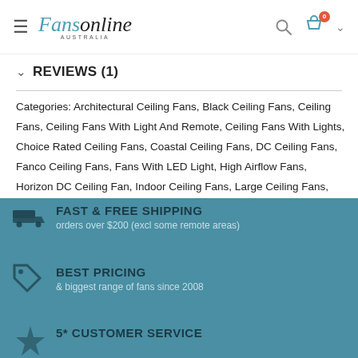Fansonline Australia - navigation header with search and cart
REVIEWS (1)
Categories: Architectural Ceiling Fans, Black Ceiling Fans, Ceiling Fans, Ceiling Fans With Light And Remote, Ceiling Fans With Lights, Choice Rated Ceiling Fans, Coastal Ceiling Fans, DC Ceiling Fans, Fanco Ceiling Fans, Fans With LED Light, High Airflow Fans, Horizon DC Ceiling Fan, Indoor Ceiling Fans, Large Ceiling Fans, Modern Ceiling Fans, Outdoor Ceiling Fans, Smart Ceiling Fans, Top Energy Efficient Fans
FAST & FREE SHIPPING
orders over $200 (excl some remote areas)
BEST PRICING
& biggest range of fans since 2008
5* CUSTOMER SERVICE